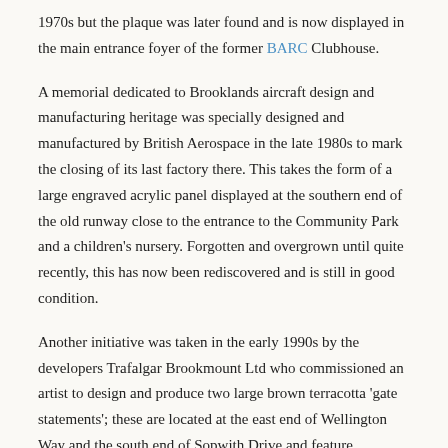1970s but the plaque was later found and is now displayed in the main entrance foyer of the former BARC Clubhouse.
A memorial dedicated to Brooklands aircraft design and manufacturing heritage was specially designed and manufactured by British Aerospace in the late 1980s to mark the closing of its last factory there. This takes the form of a large engraved acrylic panel displayed at the southern end of the old runway close to the entrance to the Community Park and a children's nursery. Forgotten and overgrown until quite recently, this has now been rediscovered and is still in good condition.
Another initiative was taken in the early 1990s by the developers Trafalgar Brookmount Ltd who commissioned an artist to design and produce two large brown terracotta 'gate statements'; these are located at the east end of Wellington Way and the south end of Sopwith Drive and feature representative images of Brooklands' pre-1940 history namely the Napier-Railton, Vickers Vimy and the two former Clubhouses.